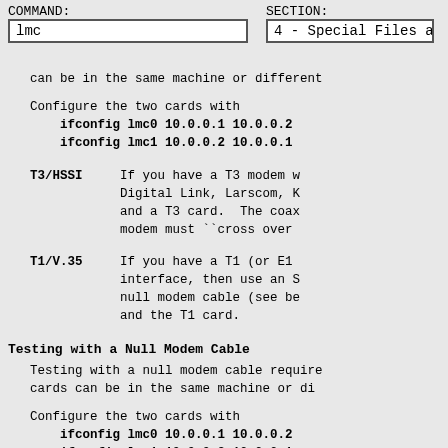COMMAND: lmc   SECTION: 4 - Special Files and Hardware S
can be in the same machine or different
Configure the two cards with
    ifconfig lmc0 10.0.0.1 10.0.0.2
    ifconfig lmc1 10.0.0.2 10.0.0.1
T3/HSSI  If you have a T3 modem (Digital Link, Larscom, h and a T3 card.  The coax modem must ``cross over
T1/V.35  If you have a T1 (or E1 interface, then use an S null modem cable (see be and the T1 card.
Testing with a Null Modem Cable
Testing with a null modem cable require cards can be in the same machine or di
Configure the two cards with
    ifconfig lmc0 10.0.0.1 10.0.0.2
    ifconfig lmc1 10.0.0.2 10.0.0.1